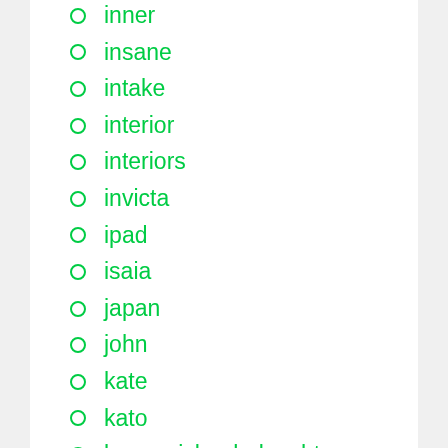inner
insane
intake
interior
interiors
invicta
ipad
isaia
japan
john
kate
kato
kennzeichenbeleuchtung
kep4328
keraiz
kleiner
knives
large
larry